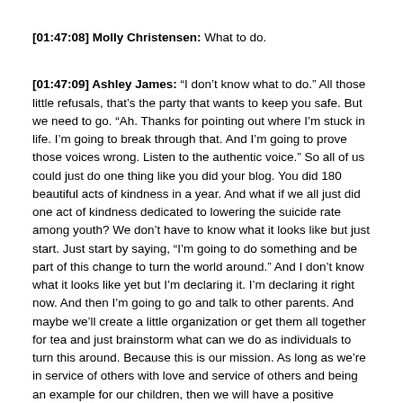[01:47:08] Molly Christensen: What to do.
[01:47:09] Ashley James: “I don’t know what to do.” All those little refusals, that’s the party that wants to keep you safe. But we need to go. “Ah. Thanks for pointing out where I’m stuck in life. I’m going to break through that. And I’m going to prove those voices wrong. Listen to the authentic voice.” So all of us could just do one thing like you did your blog. You did 180 beautiful acts of kindness in a year. And what if we all just did one act of kindness dedicated to lowering the suicide rate among youth? We don’t have to know what it looks like but just start. Just start by saying, “I’m going to do something and be part of this change to turn the world around.” And I don’t know what it looks like yet but I’m declaring it. I’m declaring it right now. And then I’m going to go and talk to other parents. And maybe we’ll create a little organization or get them all together for tea and just brainstorm what can we do as individuals to turn this around. Because this is our mission. As long as we’re in service of others with love and service of others and being an example for our children, then we will have a positive impact.